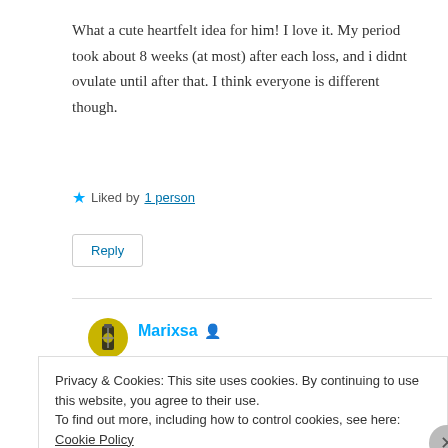What a cute heartfelt idea for him! I love it. My period took about 8 weeks (at most) after each loss, and i didnt ovulate until after that. I think everyone is different though.
★ Liked by 1 person
Reply
Marixsa
December 8, 2015 at 2:02 pm
Privacy & Cookies: This site uses cookies. By continuing to use this website, you agree to their use.
To find out more, including how to control cookies, see here: Cookie Policy
Close and accept